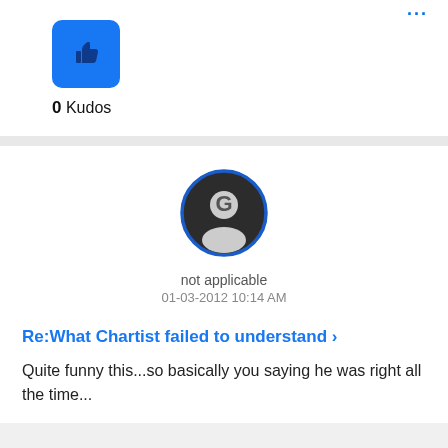[Figure (illustration): Blue thumbs-up kudos button icon]
0 Kudos
[Figure (photo): User avatar - circular profile image with dark background and white user silhouette, blue border]
not applicable
01-03-2012 10:14 AM
Re:What Chartist failed to understand
Quite funny this...so basically you saying he was right all the time...